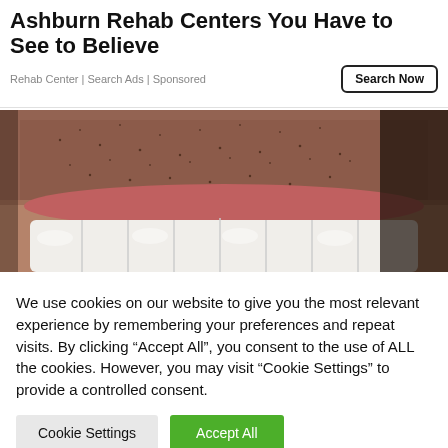Ashburn Rehab Centers You Have to See to Believe
Rehab Center | Search Ads | Sponsored
[Figure (photo): Close-up photo of a man's mouth showing white teeth and stubble/beard area]
We use cookies on our website to give you the most relevant experience by remembering your preferences and repeat visits. By clicking “Accept All”, you consent to the use of ALL the cookies. However, you may visit "Cookie Settings" to provide a controlled consent.